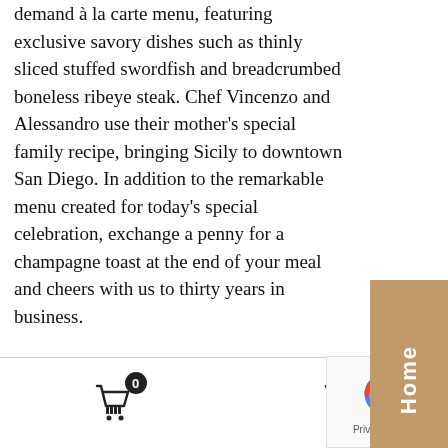demand à la carte menu, featuring exclusive savory dishes such as thinly sliced stuffed swordfish and breadcrumbed boneless ribeye steak. Chef Vincenzo and Alessandro use their mother's special family recipe, bringing Sicily to downtown San Diego. In addition to the remarkable menu created for today's special celebration, exchange a penny for a champagne toast at the end of your meal and cheers with us to thirty years in business.

Panevino's benevolent and charming staff will create a one-of-a-kind experience for their guests to make them feel like they're a part of the family. The atmosphere of the restaurant derives from the uniqueness of flavorful dishes offered on our menu as well as the significance of bringing those you love together.
[Figure (other): Brown/tan vertical tab on right side with rotated text reading 'Home']
[Figure (other): Bottom navigation bar with shopping cart icon (badge showing 0), utensils icon, and a reCAPTCHA widget showing Privacy - Terms]